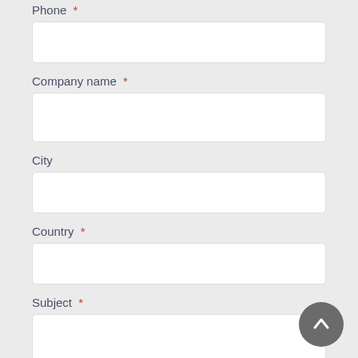Phone *
Company name *
City
Country *
Subject *
[Figure (illustration): Scroll-to-top circular button with upward arrow, dark gray background]